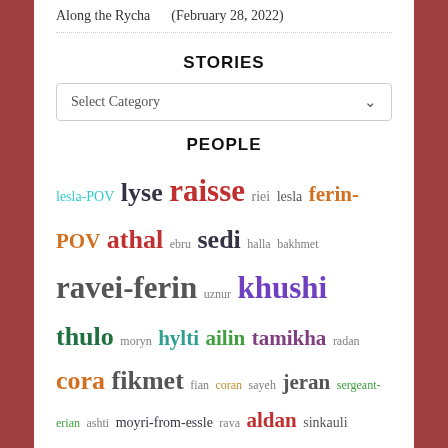A Friend And an Apprentice    (May 29, 2022)
Along the Rycha    (February 28, 2022)
STORIES
Select Category
PEOPLE
lesla-POV lyse raisse riei lesla ferin-POV athal ebru sedi halla bakhmet ravei-ferin uznur khushi thulo moryn hylti ailin tamikha radan cora fikmet fian coran sayeh jeran sergeant-erian ashti moyri-from-essle rava aldan sinkauli venla reshan ysella athal-POV raith raisse-POV amre ledu edhmem fekemme lathad alaise rhinla-POV hallei-raisse arin ayneth leva parandé moyri jalao serla arin-hayan kehendaki lydan selle aine-brun maile dimani arlyn cynla moyri-POV attima ailin-POV ferin aidan rhinla
META